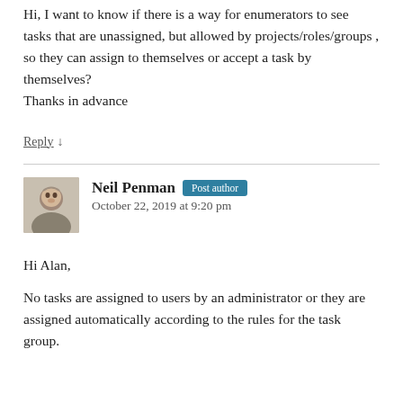Hi, I want to know if there is a way for enumerators to see tasks that are unassigned, but allowed by projects/roles/groups , so they can assign to themselves or accept a task by themselves?
Thanks in advance
Reply ↓
Neil Penman Post author
October 22, 2019 at 9:20 pm
Hi Alan,
No tasks are assigned to users by an administrator or they are assigned automatically according to the rules for the task group.